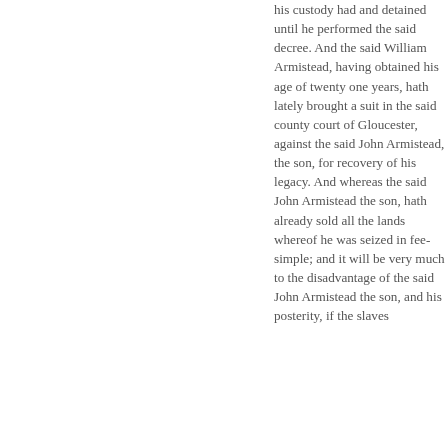his custody had and detained until he performed the said decree. And the said William Armistead, having obtained his age of twenty one years, hath lately brought a suit in the said county court of Gloucester, against the said John Armistead, the son, for recovery of his legacy. And whereas the said John Armistead the son, hath already sold all the lands whereof he was seized in fee-simple; and it will be very much to the disadvantage of the said John Armistead the son, and his posterity, if the slaves